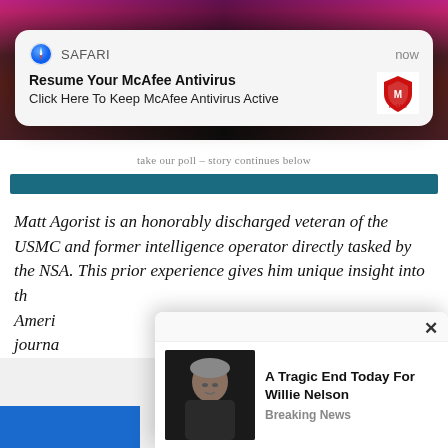[Figure (screenshot): Top banner image with dark background and magenta/red color grading, partially visible text at top]
[Figure (screenshot): Safari browser push notification popup showing McAfee Antivirus alert with compass icon, McAfee red shield logo. Title: 'Resume Your McAfee Antivirus'. Body: 'Click Here To Keep McAfee Antivirus Active'. Timestamp: 'now']
take our poll – story continues below
Matt Agorist is an honorably discharged veteran of the USMC and former intelligence operator directly tasked by the NSA. This prior experience gives him unique insight into th... ...nt journ...
[Figure (screenshot): Ad popup overlay with X close button. Shows photo of elderly man (Willie Nelson) and text: 'A Tragic End Today For Willie Nelson' with subtext 'Breaking News']